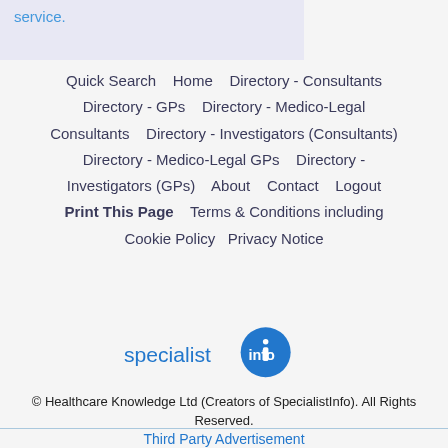service.
Quick Search    Home    Directory - Consultants    Directory - GPs    Directory - Medico-Legal Consultants    Directory - Investigators (Consultants)    Directory - Medico-Legal GPs    Directory - Investigators (GPs)    About    Contact    Logout    Print This Page    Terms & Conditions including Cookie Policy    Privacy Notice
[Figure (logo): specialist info logo — blue speech bubble with 'info' text and 'specialist info' wordmark]
© Healthcare Knowledge Ltd (Creators of SpecialistInfo). All Rights Reserved.
Third Party Advertisement
Adverts by Google